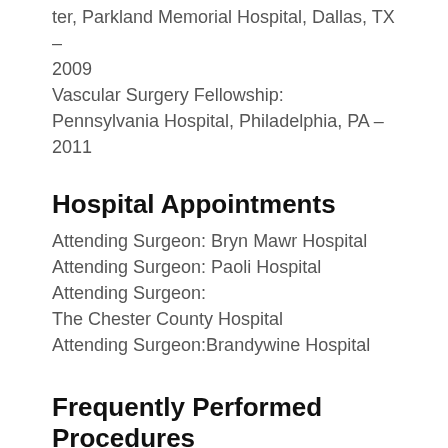ter, Parkland Memorial Hospital, Dallas, TX – 2009
Vascular Surgery Fellowship:
Pennsylvania Hospital, Philadelphia, PA – 2011
Hospital Appointments
Attending Surgeon: Bryn Mawr Hospital
Attending Surgeon: Paoli Hospital
Attending Surgeon:
The Chester County Hospital
Attending Surgeon:Brandywine Hospital
Frequently Performed Procedures